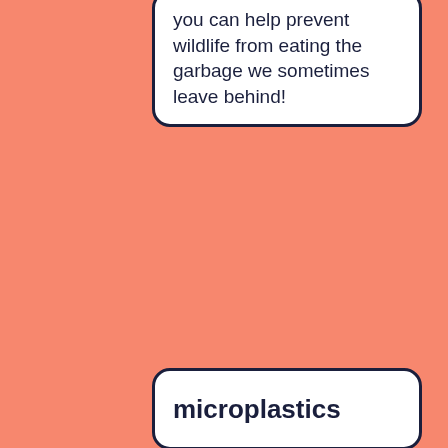you can help prevent wildlife from eating the garbage we sometimes leave behind!
microplastics